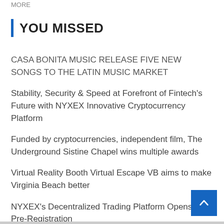MORE
YOU MISSED
CASA BONITA MUSIC RELEASE FIVE NEW SONGS TO THE LATIN MUSIC MARKET
Stability, Security & Speed at Forefront of Fintech's Future with NYXEX Innovative Cryptocurrency Platform
Funded by cryptocurrencies, independent film, The Underground Sistine Chapel wins multiple awards
Virtual Reality Booth Virtual Escape VB aims to make Virginia Beach better
NYXEX's Decentralized Trading Platform Opens for Pre-Registration